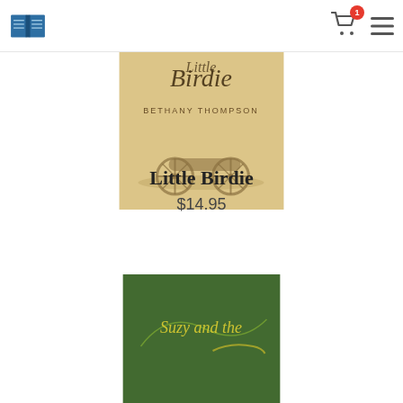Bookstore logo, cart icon with badge count 1, hamburger menu
[Figure (illustration): Book cover for 'Little Birdie' by Bethany Thompson showing cursive title text and a Civil War cannon in misty yellow-brown tones]
Little Birdie
$14.95
[Figure (illustration): Partially visible book cover for 'Suzy and the ...' with green background and cursive yellow text]